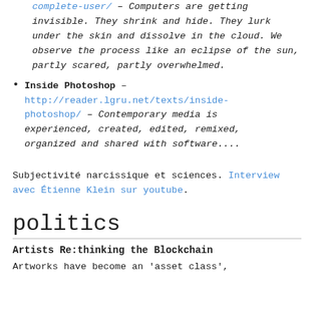complete-user/ – Computers are getting invisible. They shrink and hide. They lurk under the skin and dissolve in the cloud. We observe the process like an eclipse of the sun, partly scared, partly overwhelmed.
Inside Photoshop – http://reader.lgru.net/texts/inside-photoshop/ – Contemporary media is experienced, created, edited, remixed, organized and shared with software....
Subjectivité narcissique et sciences. Interview avec Étienne Klein sur youtube.
politics
Artists Re:thinking the Blockchain
Artworks have become an 'asset class',